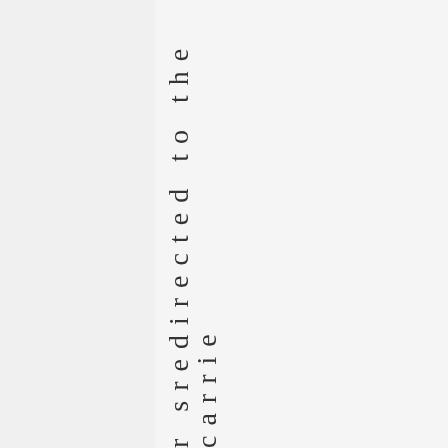r s r e d i r e c t e d t o t h e c a r r i e